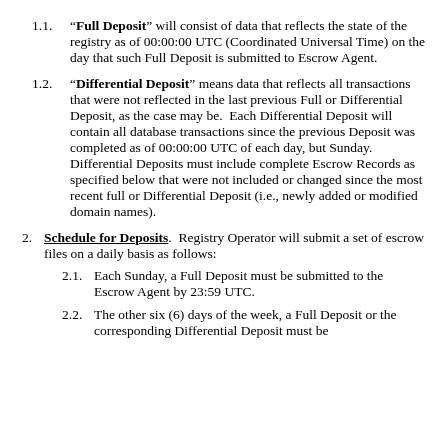1.1. "Full Deposit" will consist of data that reflects the state of the registry as of 00:00:00 UTC (Coordinated Universal Time) on the day that such Full Deposit is submitted to Escrow Agent.
1.2. "Differential Deposit" means data that reflects all transactions that were not reflected in the last previous Full or Differential Deposit, as the case may be. Each Differential Deposit will contain all database transactions since the previous Deposit was completed as of 00:00:00 UTC of each day, but Sunday. Differential Deposits must include complete Escrow Records as specified below that were not included or changed since the most recent full or Differential Deposit (i.e., newly added or modified domain names).
2. Schedule for Deposits. Registry Operator will submit a set of escrow files on a daily basis as follows:
2.1. Each Sunday, a Full Deposit must be submitted to the Escrow Agent by 23:59 UTC.
2.2. The other six (6) days of the week, a Full Deposit or the corresponding Differential Deposit must be